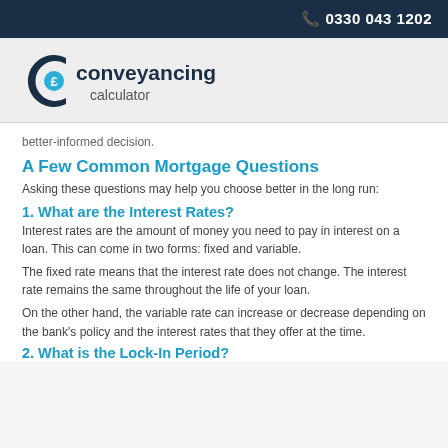0330 043 1202
[Figure (logo): Conveyancing Calculator logo with stylized C and pound sign, text reads 'conveyancing calculator']
better-informed decision.
A Few Common Mortgage Questions
Asking these questions may help you choose better in the long run:
1. What are the Interest Rates?
Interest rates are the amount of money you need to pay in interest on a loan. This can come in two forms: fixed and variable.
The fixed rate means that the interest rate does not change. The interest rate remains the same throughout the life of your loan.
On the other hand, the variable rate can increase or decrease depending on the bank's policy and the interest rates that they offer at the time.
2. What is the Lock-In Period?